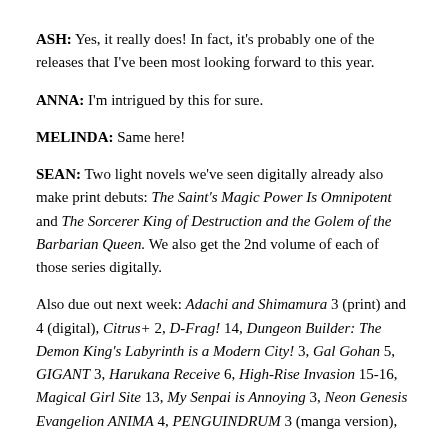ASH: Yes, it really does! In fact, it's probably one of the releases that I've been most looking forward to this year.
ANNA: I'm intrigued by this for sure.
MELINDA: Same here!
SEAN: Two light novels we've seen digitally already also make print debuts: The Saint's Magic Power Is Omnipotent and The Sorcerer King of Destruction and the Golem of the Barbarian Queen. We also get the 2nd volume of each of those series digitally.
Also due out next week: Adachi and Shimamura 3 (print) and 4 (digital), Citrus+ 2, D-Frag! 14, Dungeon Builder: The Demon King's Labyrinth is a Modern City! 3, Gal Gohan 5, GIGANT 3, Harukana Receive 6, High-Rise Invasion 15-16, Magical Girl Site 13, My Senpai is Annoying 3, Neon Genesis Evangelion ANIMA 4, PENGUINDRUM 3 (manga version),